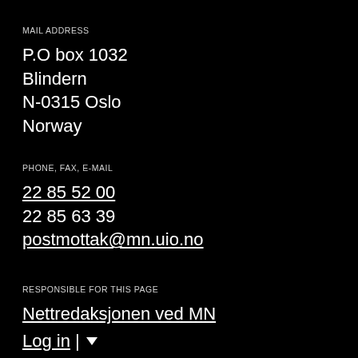MAIL ADDRESS
P.O box 1032
Blindern
N-0315 Oslo
Norway
PHONE, FAX, E-MAIL
22 85 52 00
22 85 63 39
postmottak@mn.uio.no
RESPONSIBLE FOR THIS PAGE
Nettredaksjonen ved MN
Log in | ▼